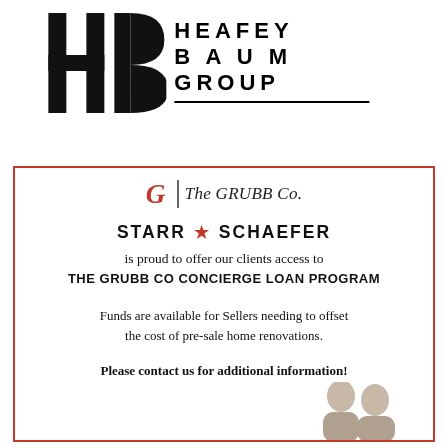[Figure (logo): Heafey Baum Group logo with HB lettermark and company name in bold spaced capitals with underline]
[Figure (logo): The GRUBB Co. logo with stylized G and italic text]
STARR ★ SCHAEFER
is proud to offer our clients access to
THE GRUBB CO CONCIERGE LOAN PROGRAM
Funds are available for Sellers needing to offset the cost of pre-sale home renovations.
Please contact us for additional information!
[Figure (photo): Partial photo of two people (headshots) at the bottom right of the box]